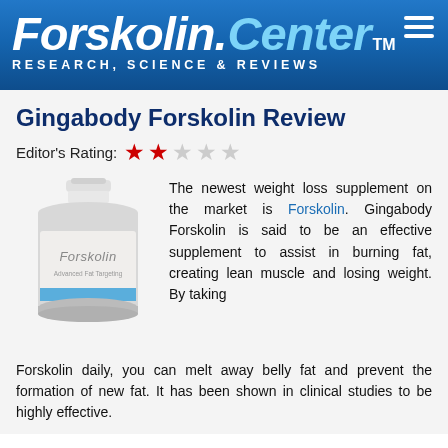Forskolin.Center™ RESEARCH, SCIENCE & REVIEWS
Gingabody Forskolin Review
Editor's Rating: 2 out of 5 stars
[Figure (photo): Product bottle of Gingabody Forskolin Advanced Fat Targeting supplement]
The newest weight loss supplement on the market is Forskolin. Gingabody Forskolin is said to be an effective supplement to assist in burning fat, creating lean muscle and losing weight. By taking Forskolin daily, you can melt away belly fat and prevent the formation of new fat. It has been shown in clinical studies to be highly effective.